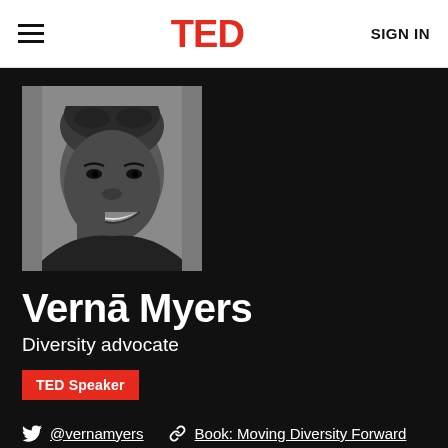TED  SIGN IN
[Figure (photo): Black and white portrait photo of Vernā Myers, a smiling woman with short natural hair, resting her hand near her face]
Vernā Myers
Diversity advocate
TED Speaker
@vernamyers  Book: Moving Diversity Forward